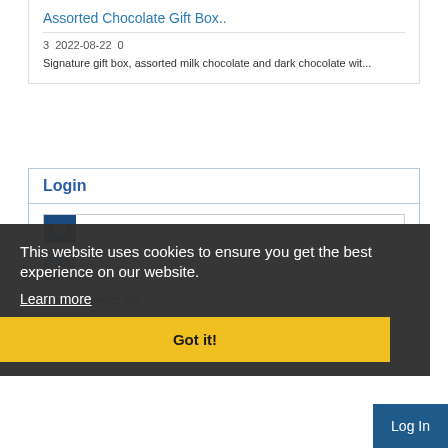Assorted Chocolate Gift Box..
3  2022-08-22  0
Signature gift box, assorted milk chocolate and dark chocolate wit...
Login
Email
Remember Me
Register | Forgot Password?
This website uses cookies to ensure you get the best experience on our website.
Learn more
Got it!
Log In